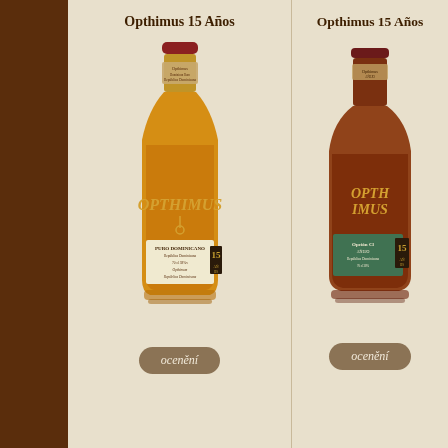Opthimus 15 Años
[Figure (photo): Bottle of Opthimus 15 Años rum - amber/golden liquid in a clear tall bottle with cork top and label reading PURO DOMINICANO and Opthimus brand]
ocenění
Opthimus 15 Años
[Figure (photo): Bottle of Opthimus 15 Años rum variant - dark amber liquid in a squat wider bottle with darker label]
ocenění